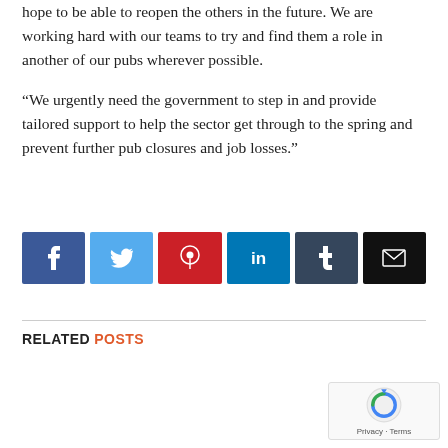hope to be able to reopen the others in the future. We are working hard with our teams to try and find them a role in another of our pubs wherever possible.
“We urgently need the government to step in and provide tailored support to help the sector get through to the spring and prevent further pub closures and job losses.”
[Figure (other): Social sharing buttons: Facebook (blue), Twitter (light blue), Pinterest (red), LinkedIn (teal blue), Tumblr (dark blue-grey), Email (black)]
RELATED POSTS